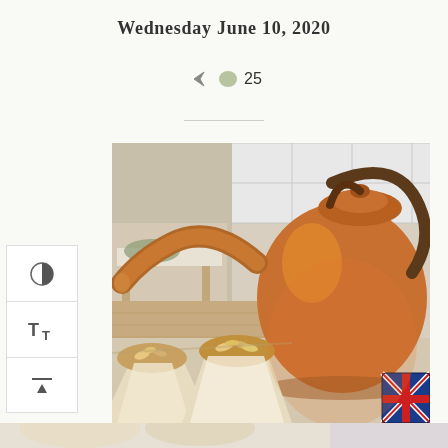Wednesday June 10, 2020
25 comments
[Figure (photo): A copper/brass antique kettle/teapot on a kitchen counter with white tile backsplash, surrounded by muffins in tulip parchment paper wrappers topped with sliced almonds. A Union Jack mug is visible on the right. A bench/chair with cushion is visible in the background on the left.]